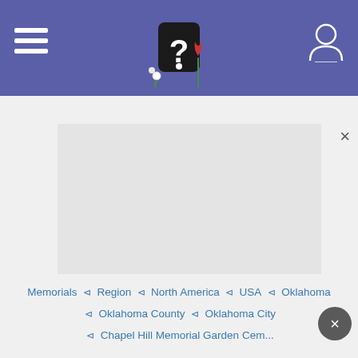Navigation header with hamburger menu, logo, and user icon
[Figure (photo): Large gray placeholder image rectangle in the center of the page]
×
Memorials ⊲ Region ⊲ North America ⊲ USA ⊲ Oklahoma ⊲ Oklahoma County ⊲ Oklahoma City ⊲ Chapel Hill Memorial Garden Cemetery